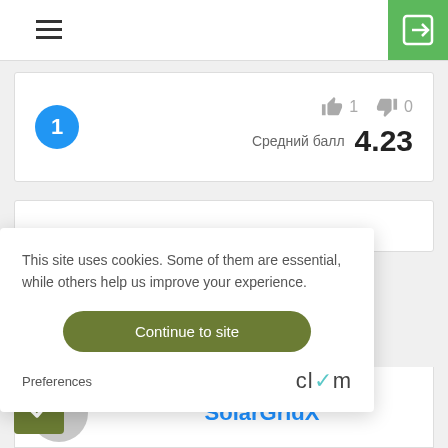[Figure (screenshot): Hamburger menu icon (three horizontal lines) in top navigation bar]
[Figure (screenshot): Green login/enter button in top right corner with arrow icon]
[Figure (screenshot): Rating card with blue circle numbered 1, thumbs up count 1, thumbs down count 0, and average score Средний балл 4.23]
This site uses cookies. Some of them are essential, while others help us improve your experience.
Continue to site
Preferences
[Figure (logo): Clym logo in grey with teal checkmark]
SolarGridX